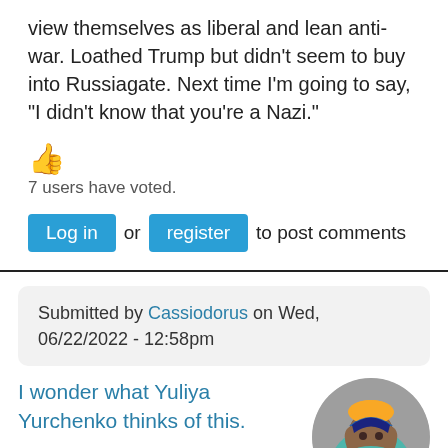view themselves as liberal and lean anti-war. Loathed Trump but didn't seem to buy into Russiagate. Next time I'm going to say, "I didn't know that you're a Nazi."
👍
7 users have voted.
Log in or register to post comments
Submitted by Cassiodorus on Wed, 06/22/2022 - 12:58pm
I wonder what Yuliya Yurchenko thinks of this.
She started her own party in Ukraine... don't know if it's been
[Figure (illustration): Cartoon illustration of a dark-skinned woman with blue hair wearing a teal outfit and yellow hat, with a grey circular background]